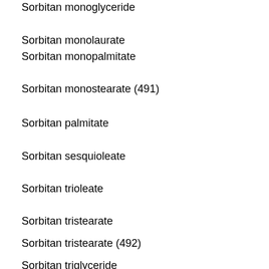Sorbitan monoglyceride
Sorbitan monolaurate
Sorbitan monopalmitate
Sorbitan monostearate (491)
Sorbitan palmitate
Sorbitan sesquioleate
Sorbitan trioleate
Sorbitan tristearate
Sorbitan tristearate (492)
Sorbitan triglyceride